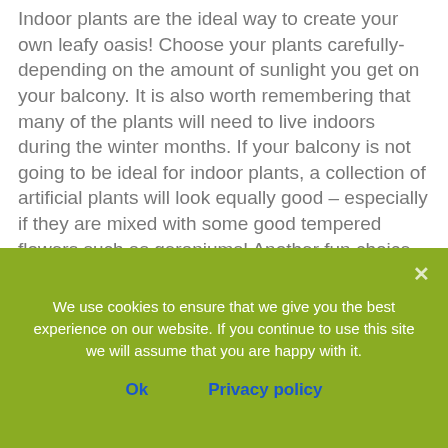Indoor plants are the ideal way to create your own leafy oasis! Choose your plants carefully-depending on the amount of sunlight you get on your balcony. It is also worth remembering that many of the plants will need to live indoors during the winter months. If your balcony is not going to be ideal for indoor plants, a collection of artificial plants will look equally good – especially if they are mixed with some good tempered flowers such as geraniums! Another fun choice for really sunny balconies is to grow a citrus tree such as a lemon or miniature...
We use cookies to ensure that we give you the best experience on our website. If you continue to use this site we will assume that you are happy with it.
Ok
Privacy policy